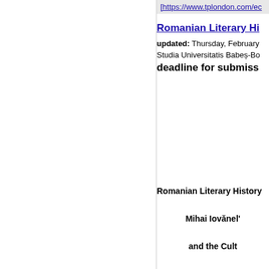[https://www.tplondon.com/ec
Romanian Literary Hi
updated: Thursday, February
Studia Universitatis Babeș-Bo
deadline for submiss
Romanian Literary History
Mihai Iovănel'
and the Cult